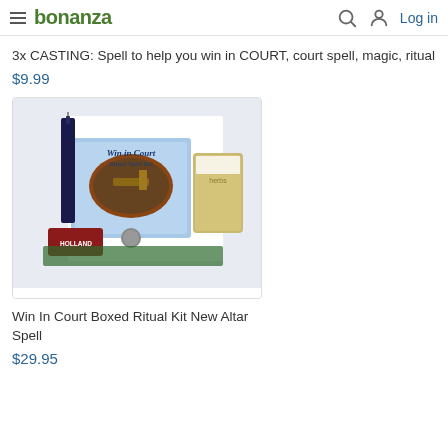bonanza | Log in
3x CASTING: Spell to help you win in COURT, court spell, magic, ritual
$9.99
[Figure (photo): Win In Court Boxed Ritual Kit showing a dark blue candle, a blue box labeled 'Win in Court Ritual Spell Kit' with an image of a gavel, a bag of herbs/materials, and other ritual items on a green cloth]
Win In Court Boxed Ritual Kit New Altar Spell
$29.95